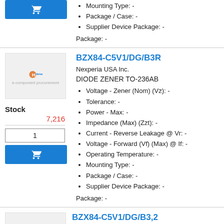Mounting Type: -
Package / Case: -
Supplier Device Package: -
Package: -
BZX84-C5V1/DG/B3R
Nexperia USA Inc.
DIODE ZENER TO-236AB
Voltage - Zener (Nom) (Vz): -
Tolerance: -
Power - Max: -
Impedance (Max) (Zzt): -
Current - Reverse Leakage @ Vr: -
Voltage - Forward (Vf) (Max) @ If: -
Operating Temperature: -
Mounting Type: -
Package / Case: -
Supplier Device Package: -
Package: -
BZX84-C5V1/DG/B3,2
Nexperia USA Inc.